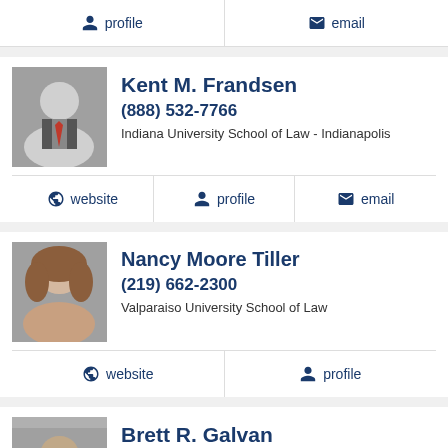profile | email
Kent M. Frandsen
(888) 532-7766
Indiana University School of Law - Indianapolis
website | profile | email
Nancy Moore Tiller
(219) 662-2300
Valparaiso University School of Law
website | profile
Brett R. Galvan
(219) 996-7755